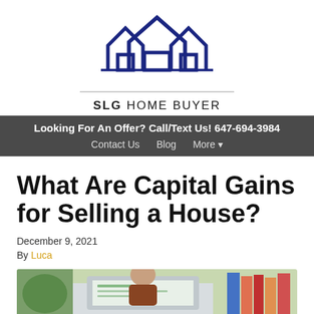[Figure (logo): SLG Home Buyer logo with three overlapping house outlines in dark navy blue, and text 'SLG HOME BUYER' below with a horizontal rule]
Looking For An Offer? Call/Text Us! 647-694-3984
Contact Us   Blog   More ▾
What Are Capital Gains for Selling a House?
December 9, 2021
By Luca
[Figure (photo): Photo of a person working on a laptop computer, with books and objects visible in the background]